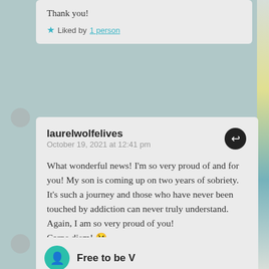Thank you!
★ Liked by 1 person
laurelwolfelives
October 19, 2021 at 12:41 pm
What wonderful news! I'm so very proud of and for you! My son is coming up on two years of sobriety. It's such a journey and those who have never been touched by addiction can never truly understand. Again, I am so very proud of you! Carpe diem! 😘
★ Liked by 1 person
Free to be V